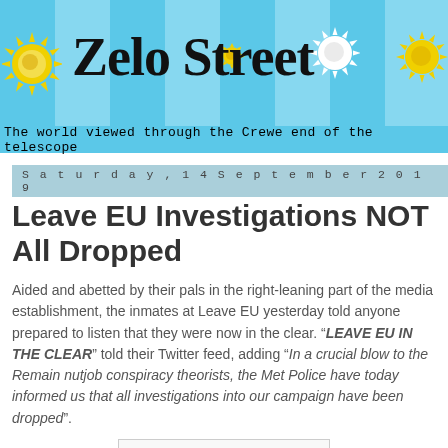[Figure (illustration): Zelo Street blog banner with colorful sun decorations on a light blue background. Title reads 'Zelo Street' in large bold serif font. Subtitle: 'The world viewed through the Crewe end of the telescope']
Saturday, 14 September 2019
Leave EU Investigations NOT All Dropped
Aided and abetted by their pals in the right-leaning part of the media establishment, the inmates at Leave EU yesterday told anyone prepared to listen that they were now in the clear. “LEAVE EU IN THE CLEAR” told their Twitter feed, adding “In a crucial blow to the Remain nutjob conspiracy theorists, the Met Police have today informed us that all investigations into our campaign have been dropped”.